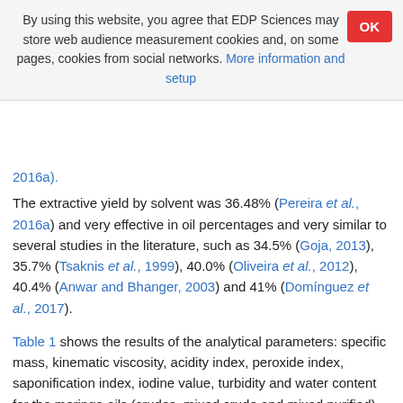By using this website, you agree that EDP Sciences may store web audience measurement cookies and, on some pages, cookies from social networks. More information and setup
2016a).
The extractive yield by solvent was 36.48% (Pereira et al., 2016a) and very effective in oil percentages and very similar to several studies in the literature, such as 34.5% (Goja, 2013), 35.7% (Tsaknis et al., 1999), 40.0% (Oliveira et al., 2012), 40.4% (Anwar and Bhanger, 2003) and 41% (Domínguez et al., 2017).
Table 1 shows the results of the analytical parameters: specific mass, kinematic viscosity, acidity index, peroxide index, saponification index, iodine value, turbidity and water content for the moringa oils (crudes, mixed crude and mixed purified) and Table 2 shows the fatty profile of moringa oil, after esterification (Pereira et al., 2016b).